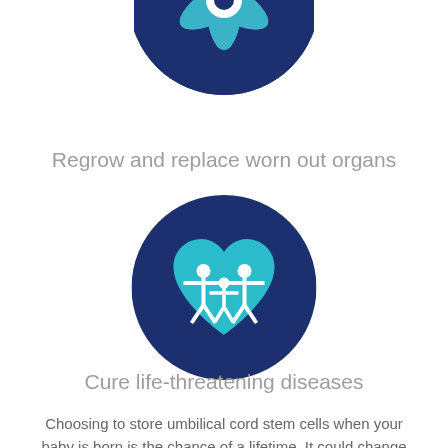[Figure (illustration): Dark navy blue circle icon with a white star/snowflake-like shape partially visible at top (cropped)]
Regrow and replace worn out organs
[Figure (illustration): Dark navy blue circle icon with a teal heart shape containing three white human figures (adult male, adult female, child) representing a family]
Cure life-threatening diseases
Choosing to store umbilical cord stem cells when your baby is born is the chance of a lifetime. It could change their life